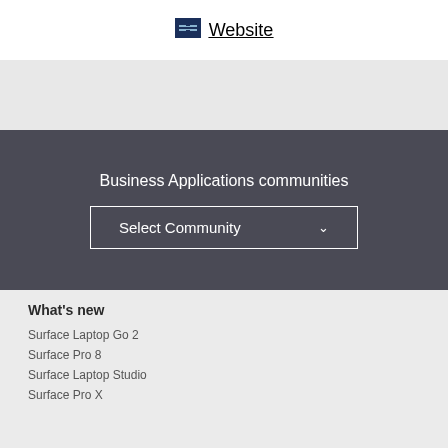Website
Business Applications communities
Select Community
What's new
Surface Laptop Go 2
Surface Pro 8
Surface Laptop Studio
Surface Pro X